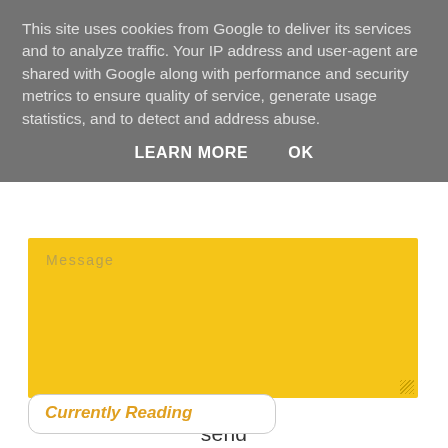This site uses cookies from Google to deliver its services and to analyze traffic. Your IP address and user-agent are shared with Google along with performance and security metrics to ensure quality of service, generate usage statistics, and to detect and address abuse.
LEARN MORE   OK
Message
send
Currently Reading